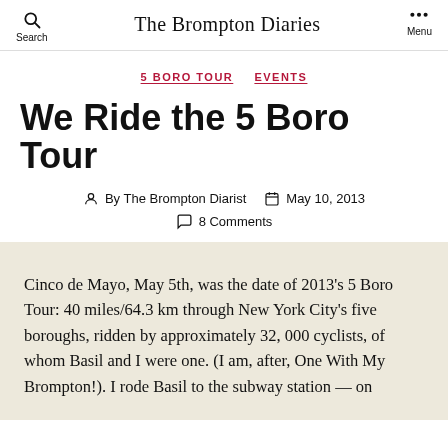The Brompton Diaries
5 BORO TOUR   EVENTS
We Ride the 5 Boro Tour
By The Brompton Diarist   May 10, 2013   8 Comments
Cinco de Mayo, May 5th, was the date of 2013's 5 Boro Tour: 40 miles/64.3 km through New York City's five boroughs, ridden by approximately 32, 000 cyclists, of whom Basil and I were one.  (I am, after, One With My Brompton!).  I rode Basil to the subway station — on